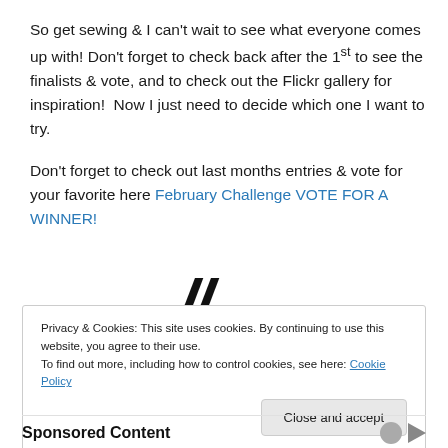So get sewing & I can't wait to see what everyone comes up with! Don't forget to check back after the 1st to see the finalists & vote, and to check out the Flickr gallery for inspiration!  Now I just need to decide which one I want to try.
Don't forget to check out last months entries & vote for your favorite here February Challenge VOTE FOR A WINNER!
Privacy & Cookies: This site uses cookies. By continuing to use this website, you agree to their use.
To find out more, including how to control cookies, see here: Cookie Policy
Close and accept
Sponsored Content